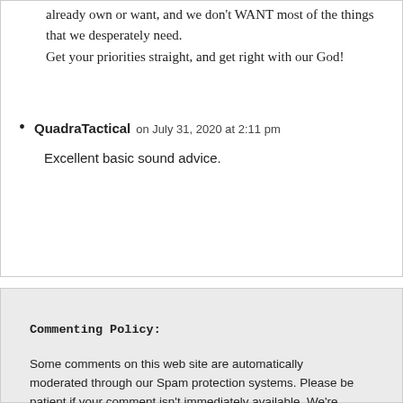Sadly, we don't NEED most of the things that we already own or want, and we don't WANT most of the things that we desperately need.
Get your priorities straight, and get right with our God!
QuadraTactical on July 31, 2020 at 2:11 pm
Excellent basic sound advice.
Commenting Policy:
Some comments on this web site are automatically moderated through our Spam protection systems. Please be patient if your comment isn't immediately available. We're